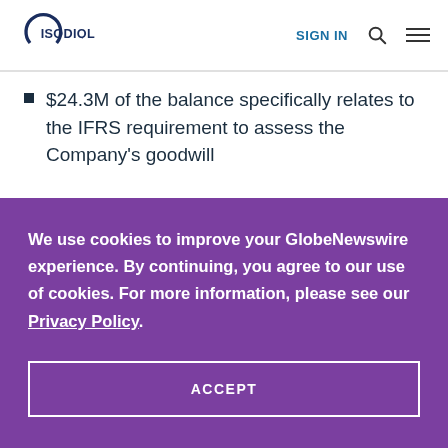ISODIOL — SIGN IN
$24.3M of the balance specifically relates to the IFRS requirement to assess the Company's goodwill
We use cookies to improve your GlobeNewswire experience. By continuing, you agree to our use of cookies. For more information, please see our Privacy Policy.
ACCEPT